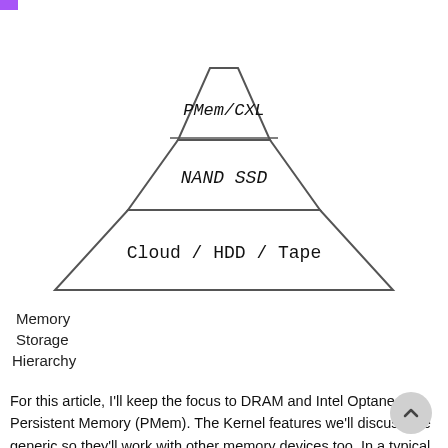[Figure (other): A memory/storage hierarchy pyramid diagram with three visible layers labeled PMem/CXL (top), NAND SSD (middle), and Cloud / HDD / Tape (bottom). The pyramid is drawn with hand-drawn style lines.]
Memory
Storage
Hierarchy
For this article, I'll keep the focus to DRAM and Intel Optane Persistent Memory (PMem). The Kernel features we'll discuss are generic so they'll work with other memory devices too. In a typical system with DRAM and PMem the CPUs and the DRAM will be put in one logical NUMA while the PMem will be put in another (faked) logical NUMA